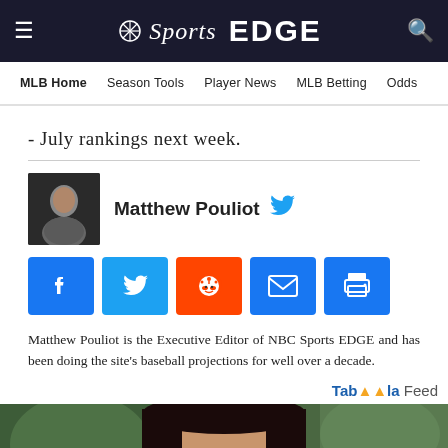NBC Sports EDGE
MLB Home   Season Tools   Player News   MLB Betting   Odds
- July rankings next week.
Matthew Pouliot
[Figure (other): Social share buttons: Facebook, Twitter, Reddit, Email, Print]
Matthew Pouliot is the Executive Editor of NBC Sports EDGE and has been doing the site's baseball projections for well over a decade.
Taboola Feed
[Figure (photo): Photo of a woman with dark hair against a green outdoor background]